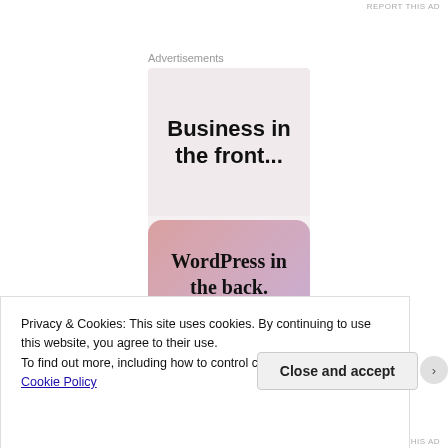REPORT THIS AD
Advertisements
[Figure (illustration): WordPress advertisement showing 'Business in the front...' text on light pink background, and 'WordPress in the back.' text on a rounded pink-to-lavender gradient section below.]
Privacy & Cookies: This site uses cookies. By continuing to use this website, you agree to their use.
To find out more, including how to control cookies, see here: Cookie Policy
Close and accept
REPORT THIS AD